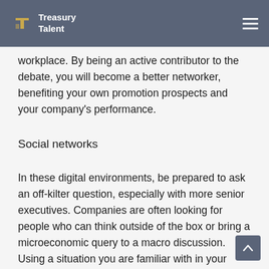Treasury Talent
workplace. By being an active contributor to the debate, you will become a better networker, benefiting your own promotion prospects and your company's performance.
Social networks
In these digital environments, be prepared to ask an off-kilter question, especially with more senior executives. Companies are often looking for people who can think outside of the box or bring a microeconomic query to a macro discussion. Using a situation you are familiar with in your workplace during a discussion will make you stand